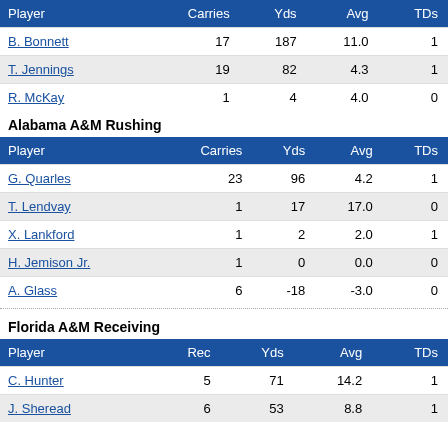| Player | Carries | Yds | Avg | TDs |
| --- | --- | --- | --- | --- |
| B. Bonnett | 17 | 187 | 11.0 | 1 |
| T. Jennings | 19 | 82 | 4.3 | 1 |
| R. McKay | 1 | 4 | 4.0 | 0 |
Alabama A&M Rushing
| Player | Carries | Yds | Avg | TDs |
| --- | --- | --- | --- | --- |
| G. Quarles | 23 | 96 | 4.2 | 1 |
| T. Lendvay | 1 | 17 | 17.0 | 0 |
| X. Lankford | 1 | 2 | 2.0 | 1 |
| H. Jemison Jr. | 1 | 0 | 0.0 | 0 |
| A. Glass | 6 | -18 | -3.0 | 0 |
Florida A&M Receiving
| Player | Rec | Yds | Avg | TDs |
| --- | --- | --- | --- | --- |
| C. Hunter | 5 | 71 | 14.2 | 1 |
| J. Sheread | 6 | 53 | 8.8 | 1 |